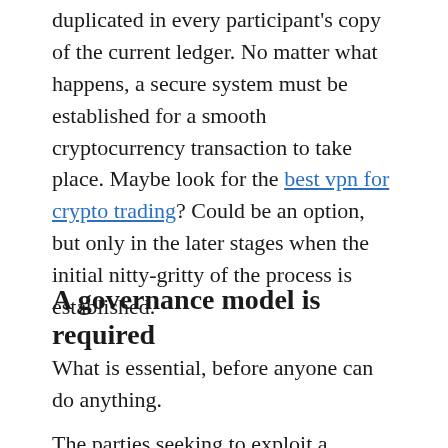duplicated in every participant's copy of the current ledger. No matter what happens, a secure system must be established for a smooth cryptocurrency transaction to take place. Maybe look for the best vpn for crypto trading? Could be an option, but only in the later stages when the initial nitty-gritty of the process is established.
A governance model is required
What is essential, before anyone can do anything.
The parties seeking to exploit a distributed